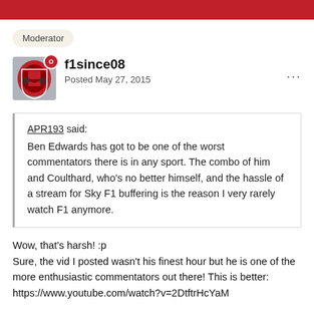Moderator
f1since08
Posted May 27, 2015
APR193 said:
Ben Edwards has got to be one of the worst commentators there is in any sport. The combo of him and Coulthard, who's no better himself, and the hassle of a stream for Sky F1 buffering is the reason I very rarely watch F1 anymore.
Wow, that's harsh! :p
Sure, the vid I posted wasn't his finest hour but he is one of the more enthusiastic commentators out there! This is better:
https://www.youtube.com/watch?v=2DtftrHcYaM